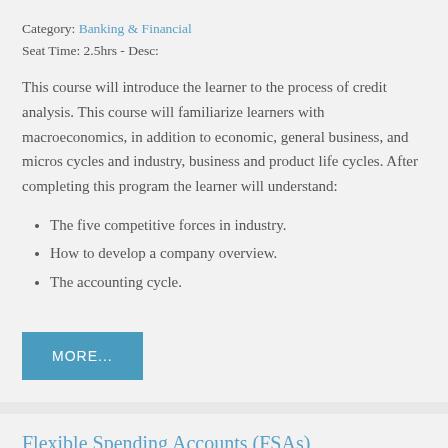Category: Banking & Financial
Seat Time: 2.5hrs - Desc:
This course will introduce the learner to the process of credit analysis. This course will familiarize learners with macroeconomics, in addition to economic, general business, and micros cycles and industry, business and product life cycles. After completing this program the learner will understand:
The five competitive forces in industry.
How to develop a company overview.
The accounting cycle.
MORE...
Flexible Spending Accounts (FSAs)